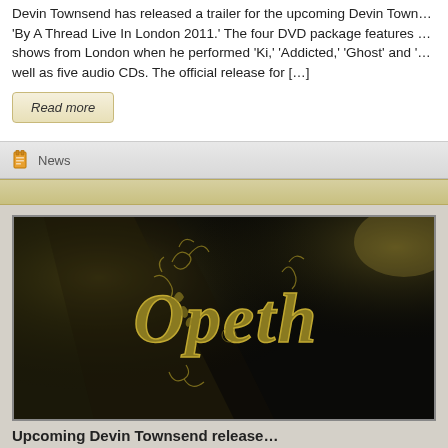Devin Townsend has released a trailer for the upcoming Devin Town… 'By A Thread Live In London 2011.' The four DVD package features … shows from London when he performed 'Ki,' 'Addicted,' 'Ghost' and '… well as five audio CDs. The official release for […]
Read more
News
[Figure (photo): Opeth band logo in ornate gold gothic lettering on a dark/black background with dramatic spotlight lighting effects]
Upcoming Devin Townsend release...